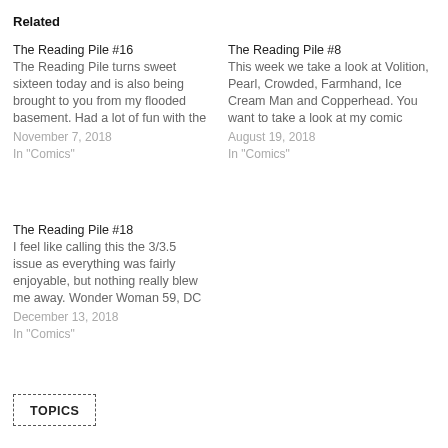Related
The Reading Pile #16
The Reading Pile turns sweet sixteen today and is also being brought to you from my flooded basement. Had a lot of fun with the
November 7, 2018
In "Comics"
The Reading Pile #8
This week we take a look at Volition, Pearl, Crowded, Farmhand, Ice Cream Man and Copperhead. You want to take a look at my comic
August 19, 2018
In "Comics"
The Reading Pile #18
I feel like calling this the 3/3.5 issue as everything was fairly enjoyable, but nothing really blew me away. Wonder Woman 59, DC
December 13, 2018
In "Comics"
TOPICS